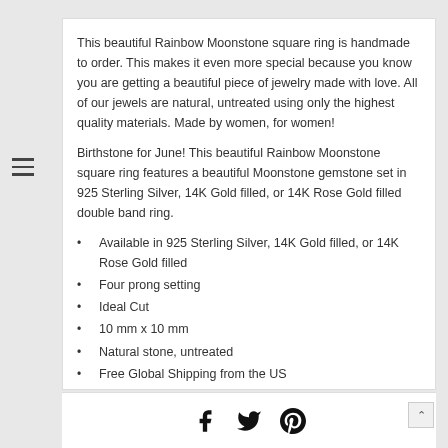This beautiful Rainbow Moonstone square ring is handmade to order. This makes it even more special because you know you are getting a beautiful piece of jewelry made with love. All of our jewels are natural, untreated using only the highest quality materials. Made by women, for women!
Birthstone for June! This beautiful Rainbow Moonstone square ring features a beautiful Moonstone gemstone set in 925 Sterling Silver, 14K Gold filled, or 14K Rose Gold filled double band ring.
Available in 925 Sterling Silver, 14K Gold filled, or 14K Rose Gold filled
Four prong setting
Ideal Cut
10 mm x 10 mm
Natural stone, untreated
Free Global Shipping from the US